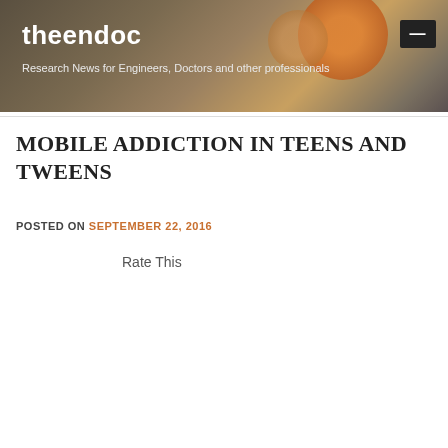theendoc
Research News for Engineers, Doctors and other professionals
MOBILE ADDICTION IN TEENS AND TWEENS
POSTED ON SEPTEMBER 22, 2016
Rate This